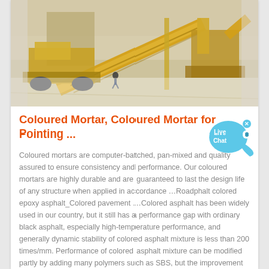[Figure (photo): Aerial/overhead view of construction or quarry equipment with yellow conveyor belts and heavy machinery on a dusty site, with a worker visible.]
Coloured Mortar, Coloured Mortar for Pointing ...
Coloured mortars are computer-batched, pan-mixed and quality assured to ensure consistency and performance. Our coloured mortars are highly durable and are guaranteed to last the design life of any structure when applied in accordance …Roadphalt colored epoxy asphalt_Colored pavement …Colored asphalt has been widely used in our country, but it still has a performance gap with ordinary black asphalt, especially high-temperature performance, and generally dynamic stability of colored asphalt mixture is less than 200 times/mm. Performance of colored asphalt mixture can be modified partly by adding many polymers such as SBS, but the improvement of high …